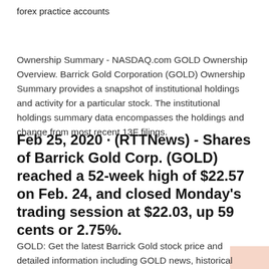forex practice accounts
Ownership Summary - NASDAQ.com GOLD Ownership Overview. Barrick Gold Corporation (GOLD) Ownership Summary provides a snapshot of institutional holdings and activity for a particular stock. The institutional holdings summary data encompasses the holdings and change from most recent 13F filings.
Feb 25, 2020 · (RTTNews) - Shares of Barrick Gold Corp. (GOLD) reached a 52-week high of $22.57 on Feb. 24, and closed Monday's trading session at $22.03, up 59 cents or 2.75%.
GOLD: Get the latest Barrick Gold stock price and detailed information including GOLD news, historical charts and realtime prices. Barrick paints bright 10-year view to world's 'most